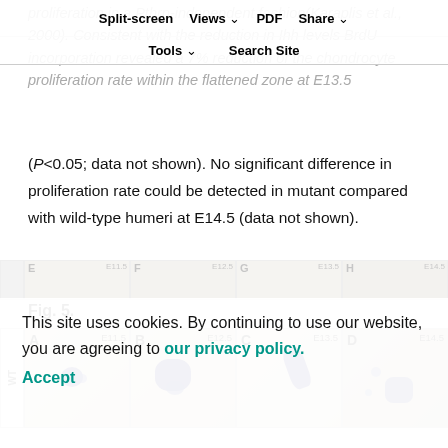Split-screen   Views   PDF   Share
Tools   Search Site
proliferation in a Pthrp-independent fashion(Karaplis et al., 2000). Consistent with the reduction in Ihh levels BrdU incorporation revealed a 7% reduction of the chondrocyte proliferation rate within the flattened zone at E13.5 (P<0.05; data not shown). No significant difference in proliferation rate could be detected in mutant compared with wild-type humeri at E14.5 (data not shown).
Fig. 5.
[Figure (photo): Four microscopy panels labeled A (E11.5), B (E12.5), C (E13.5), D (E14.5) showing WT (wild-type) tissue sections with dark staining blobs indicating gene expression at different embryonic stages.]
This site uses cookies. By continuing to use our website, you are agreeing to our privacy policy. Accept